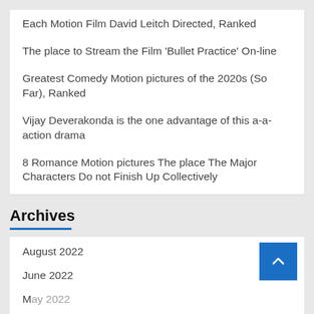Each Motion Film David Leitch Directed, Ranked
The place to Stream the Film 'Bullet Practice' On-line
Greatest Comedy Motion pictures of the 2020s (So Far), Ranked
Vijay Deverakonda is the one advantage of this a-a-action drama
8 Romance Motion pictures The place The Major Characters Do not Finish Up Collectively
Archives
August 2022
June 2022
May 2022